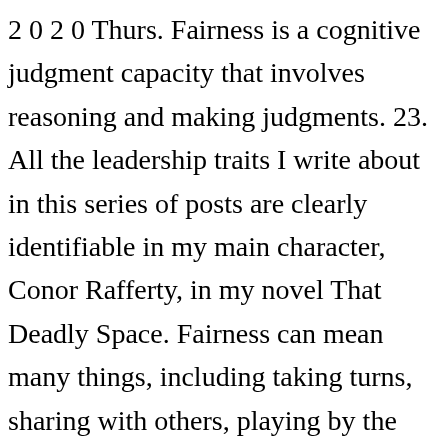2 0 2 0 Thurs. Fairness is a cognitive judgment capacity that involves reasoning and making judgments. 23. All the leadership traits I write about in this series of posts are clearly identifiable in my main character, Conor Rafferty, in my novel That Deadly Space. Fairness can mean many things, including taking turns, sharing with others, playing by the rules, listening to others without judging them, and being open-minded to the different perspectives of others. Saved by Keri Powers Pye, Counselor Keri. The most prevalent character strengths in a UK sample were open